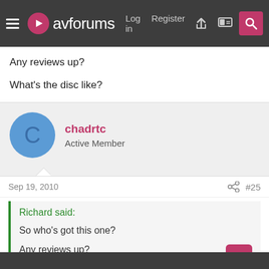avforums | Log in | Register
Any reviews up?

What's the disc like?
chadrtc
Active Member
Sep 19, 2010  #25
Richard said:
So who's got this one?
Any reviews up?
What's the disc like?